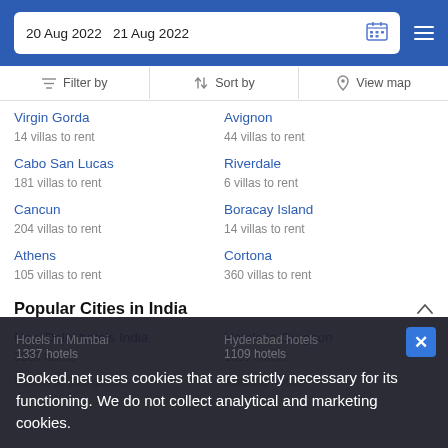20 Aug 2022  21 Aug 2022
Filter by  |  Sort by  |  View map
Virgin Gorda
14 villas to rent
Avignon
44 villas to rent
Cabo San Lucas
181 villas to rent
Riverdale
6 villas to rent
Cancun
204 villas to rent
Boracay Island
14 villas to rent
Athens
105 villas to rent
Cortona
360 villas to rent
Popular Cities in India
New Delhi hotels India
3306 hotels
Hotels in Gurgaon
1369 hotels
Hotels in Bangalore
Kolkata hotels
Hotels in Mumbai
1337 hotels
Hyderabad hotels
1109 hotels
Booked.net uses cookies that are strictly necessary for its functioning. We do not collect analytical and marketing cookies.